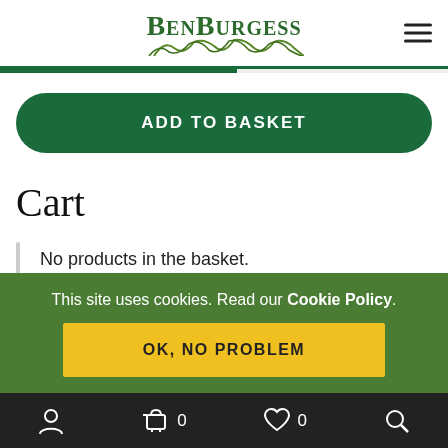[Figure (logo): BenBurgess logo with green stylized grass roots below text]
ADD TO BASKET
Cart
No products in the basket.
Product categories
This site uses cookies. Read our Cookie Policy.
OK, NO PROBLEM
Account  Cart 0  Wishlist 0  Search